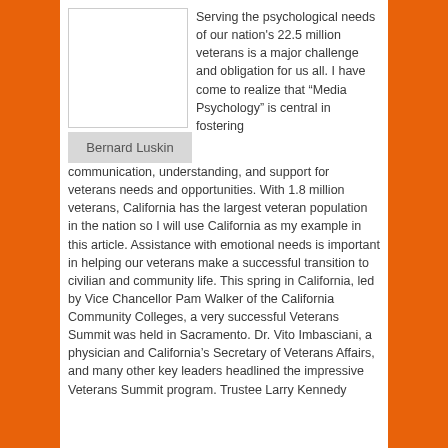[Figure (photo): Portrait photo placeholder of Bernard Luskin]
Bernard Luskin
Serving the psychological needs of our nation's 22.5 million veterans is a major challenge and obligation for us all. I have come to realize that “Media Psychology” is central in fostering communication, understanding, and support for veterans needs and opportunities. With 1.8 million veterans, California has the largest veteran population in the nation so I will use California as my example in this article. Assistance with emotional needs is important in helping our veterans make a successful transition to civilian and community life. This spring in California, led by Vice Chancellor Pam Walker of the California Community Colleges, a very successful Veterans Summit was held in Sacramento. Dr. Vito Imbasciani, a physician and California’s Secretary of Veterans Affairs, and many other key leaders headlined the impressive Veterans Summit program. Trustee Larry Kennedy